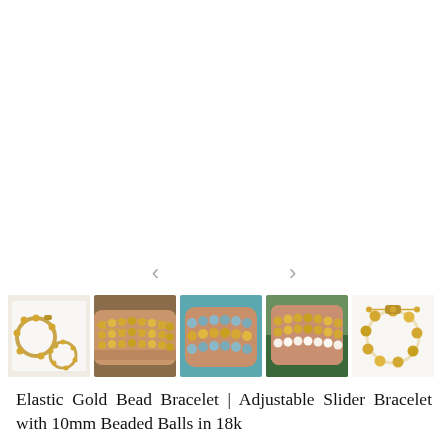[Figure (photo): Navigation arrows (left and right chevrons) for image carousel, displayed in light gray]
[Figure (photo): Row of 5 product thumbnail images showing gold bead bracelets: 1) flat lay of two gold bead bracelets on white background, 2) gold bead bracelet stacked on wrist, 3) wrist wearing mixed bead bracelets in gold and blue/grey, 4) wrist with stacked gold and white pearl bracelets, 5) single gold bead bracelet on white background showing adjustable slider closure]
Elastic Gold Bead Bracelet | Adjustable Slider Bracelet with 10mm Beaded Balls in 18k